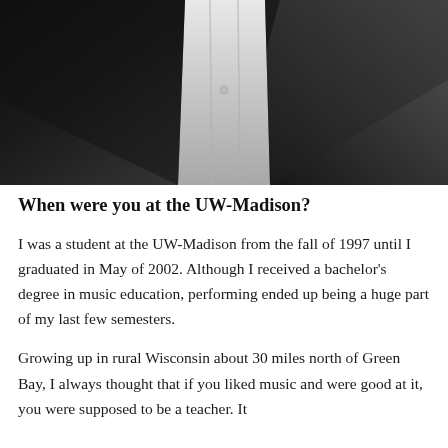[Figure (photo): Black and white close-up photo of a person wearing a tuxedo with a white formal shirt front visible.]
When were you at the UW-Madison?
I was a student at the UW-Madison from the fall of 1997 until I graduated in May of 2002. Although I received a bachelor's degree in music education, performing ended up being a huge part of my last few semesters.
Growing up in rural Wisconsin about 30 miles north of Green Bay, I always thought that if you liked music and were good at it, you were supposed to be a teacher. It